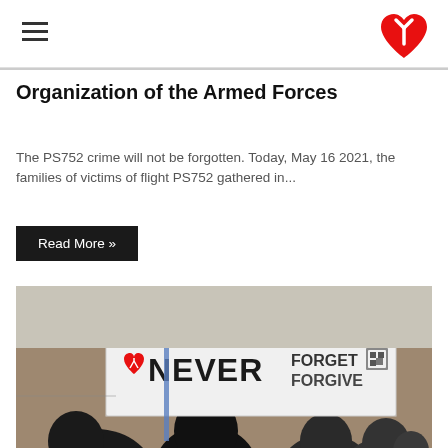Organization of the Armed Forces
The PS752 crime will not be forgotten. Today, May 16 2021, the families of victims of flight PS752 gathered in...
Read More »
[Figure (photo): Protest rally showing crowd of people facing a large banner that reads 'NEVER FORGET NEVER FORGIVE' with a broken heart logo. People are wearing winter clothes and masks. Trees visible in background.]
January 17, 2021